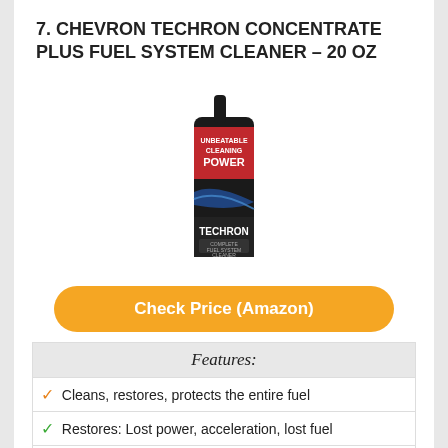7. CHEVRON TECHRON CONCENTRATE PLUS FUEL SYSTEM CLEANER – 20 OZ
[Figure (photo): Bottle of Chevron Techron Concentrate Plus Complete Fuel System Cleaner, 20 oz, black bottle with red and blue label showing 'UNBEATABLE CLEANING POWER']
Check Price (Amazon)
| Features: |
| --- |
| ✓ Cleans, restores, protects the entire fuel |
| ✓ Restores: Lost power, acceleration, lost fuel |
| ✓ Reduces: Rough idle, engine surge, |
| ✓ Improves: Cold start performance, and fuel |